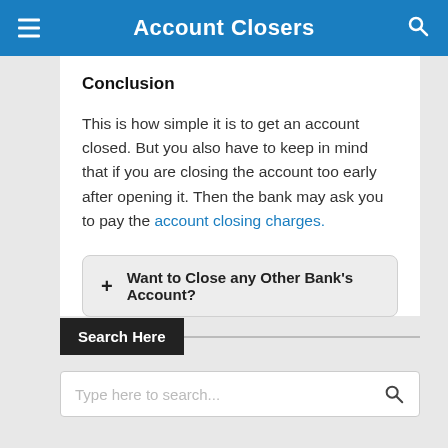Account Closers
Conclusion
This is how simple it is to get an account closed. But you also have to keep in mind that if you are closing the account too early after opening it. Then the bank may ask you to pay the account closing charges.
+ Want to Close any Other Bank's Account?
Search Here
Type here to search...